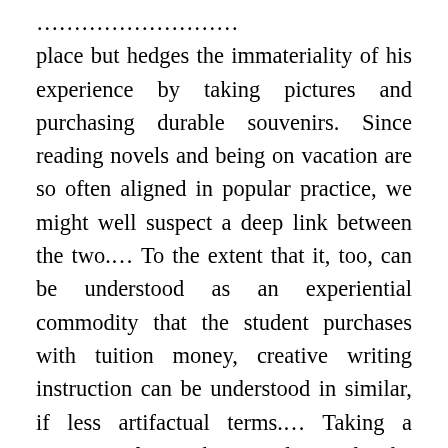place but hedges the immateriality of his experience by taking pictures and purchasing durable souvenirs. Since reading novels and being on vacation are so often aligned in popular practice, we might well suspect a deep link between the two.... To the extent that it, too, can be understood as an experiential commodity that the student purchases with tuition money, creative writing instruction can be understood in similar, if less artifactual terms.... Taking a vacation from the usual grind, the undergraduate writer becomes a kind of internal tourist voyaging on a sea of personal memories and trenchant observations of her social environment, converting them, via the